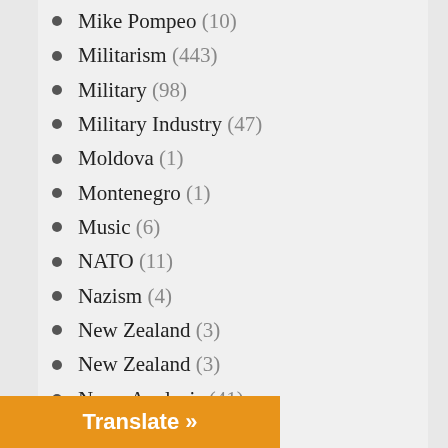Mike Pompeo (10)
Militarism (443)
Military (98)
Military Industry (47)
Moldova (1)
Montenegro (1)
Music (6)
NATO (11)
Nazism (4)
New Zealand (3)
New Zealand (3)
News Analysis (41)
Nigeria (7)
Nigeria (1)
North Korea (30)
Northern Rhodesia (3)
Norway (5)
Nuclear Weapons (66)
...nistration (4,357)